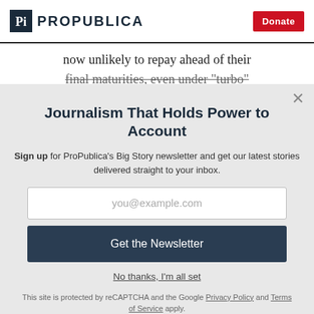ProPublica | Donate
now unlikely to repay ahead of their final maturities, even under "turbo"
Journalism That Holds Power to Account
Sign up for ProPublica's Big Story newsletter and get our latest stories delivered straight to your inbox.
you@example.com
Get the Newsletter
No thanks, I'm all set
This site is protected by reCAPTCHA and the Google Privacy Policy and Terms of Service apply.